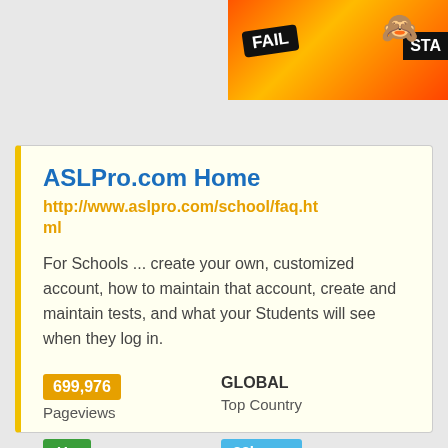[Figure (illustration): Banner advertisement with FAIL text badge and cartoon character with flame background, partially cropped, top-right corner]
ASLPro.com Home
http://www.aslpro.com/school/faq.html
For Schools ... create your own, customized account, how to maintain that account, create and maintain tests, and what your Students will see when they log in.
699,976 Pageviews
GLOBAL Top Country
Up Site Status
23h ago Last Pinged